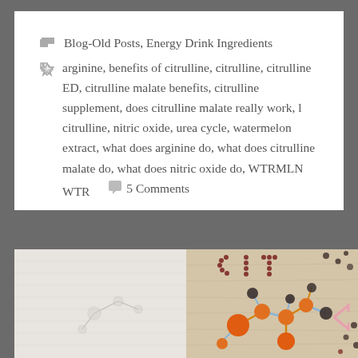Blog-Old Posts, Energy Drink Ingredients
arginine, benefits of citrulline, citrulline, citrulline ED, citrulline malate benefits, citrulline supplement, does citrulline malate really work, l citrulline, nitric oxide, urea cycle, watermelon extract, what does arginine do, what does citrulline malate do, what does nitric oxide do, WTRMLN WTR     5 Comments
[Figure (photo): Photo of a molecular model made from fruits/beans arranged on a wooden surface, showing orange and dark spheres connected by colored sticks resembling a chemical structure, with letters 'CIT' spelled out above in red beans. Left side shows a white textured surface with a partial sketch.]